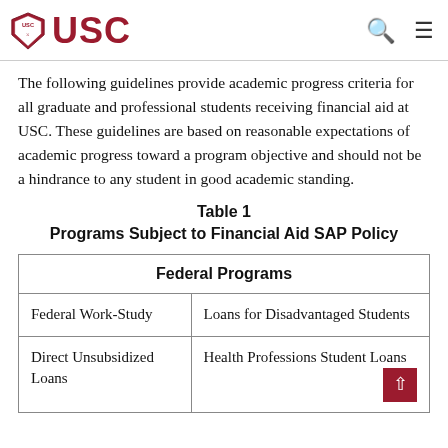USC
The following guidelines provide academic progress criteria for all graduate and professional students receiving financial aid at USC. These guidelines are based on reasonable expectations of academic progress toward a program objective and should not be a hindrance to any student in good academic standing.
Table 1
Programs Subject to Financial Aid SAP Policy
| Federal Programs |
| --- |
| Federal Work-Study | Loans for Disadvantaged Students |
| Direct Unsubsidized Loans | Health Professions Student Loans |